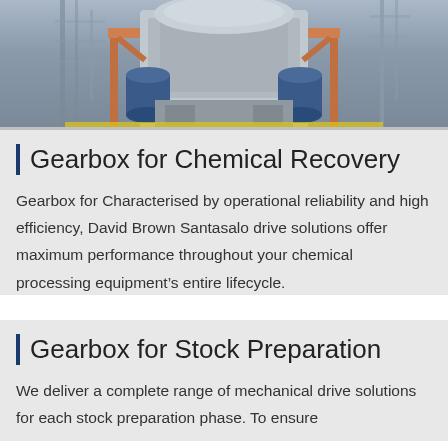[Figure (photo): Industrial gearbox or large mechanical equipment mounted on an orange/red frame structure at a chemical plant or factory. The image shows heavy industrial machinery with blue cylindrical components visible.]
Gearbox for Chemical Recovery
Gearbox for Characterised by operational reliability and high efficiency, David Brown Santasalo drive solutions offer maximum performance throughout your chemical processing equipment’s entire lifecycle.
Gearbox for Stock Preparation
We deliver a complete range of mechanical drive solutions for each stock preparation phase. To ensure